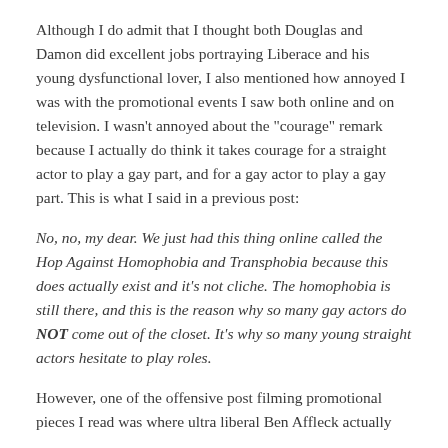Although I do admit that I thought both Douglas and Damon did excellent jobs portraying Liberace and his young dysfunctional lover, I also mentioned how annoyed I was with the promotional events I saw both online and on television. I wasn't annoyed about the "courage" remark because I actually do think it takes courage for a straight actor to play a gay part, and for a gay actor to play a gay part. This is what I said in a previous post:
No, no, my dear. We just had this thing online called the Hop Against Homophobia and Transphobia because this does actually exist and it's not cliche. The homophobia is still there, and this is the reason why so many gay actors do NOT come out of the closet. It's why so many young straight actors hesitate to play roles.
However, one of the offensive post filming promotional pieces I read was where ultra liberal Ben Affleck actually